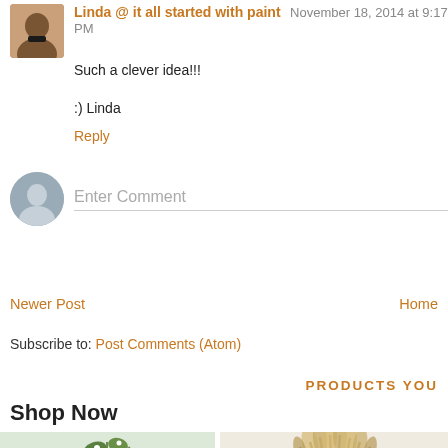Linda @ it all started with paint  November 18, 2014 at 9:17 PM
Such a clever idea!!!
:) Linda
Reply
Enter Comment
Newer Post
Home
Subscribe to: Post Comments (Atom)
PRODUCTS YOU
Shop Now
[Figure (photo): Green potted plant with small white flowers in a square pot]
[Figure (photo): Bunch of dried pampas grass or wheat stalks]